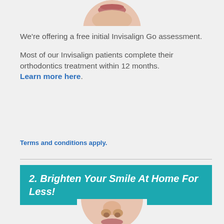[Figure (photo): Cropped close-up of a person's mouth/lips area, shown from below the nose, partial circle crop at top of page]
We're offering a free initial Invisalign Go assessment.
Most of our Invisalign patients complete their orthodontics treatment within 12 months. Learn more here.
Terms and conditions apply.
2. Brighten Your Smile At Home For Less!
[Figure (photo): Cropped close-up of a person's face showing nose and upper lip area, partial circle crop at bottom of page]